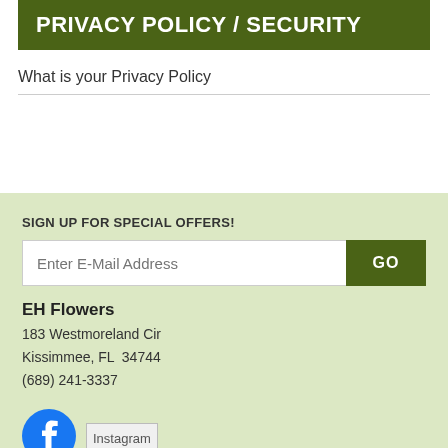PRIVACY POLICY / SECURITY
What is your Privacy Policy
SIGN UP FOR SPECIAL OFFERS!
Enter E-Mail Address  GO
EH Flowers
183 Westmoreland Cir
Kissimmee, FL  34744
(689) 241-3337
[Figure (logo): Facebook logo icon (blue circle with white F)]
[Figure (logo): Instagram image placeholder]